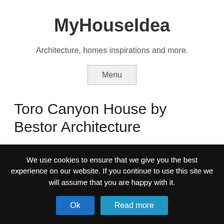MyHouseIdea
Architecture, homes inspirations and more.
Menu
Toro Canyon House by Bestor Architecture
Toro Canyon House was designed by Bestor Architecture and is located in Santa Barbara, California, USA. Completed in 2012 this pool house that is nestled into the hill has a custom
We use cookies to ensure that we give you the best experience on our website. If you continue to use this site we will assume that you are happy with it.